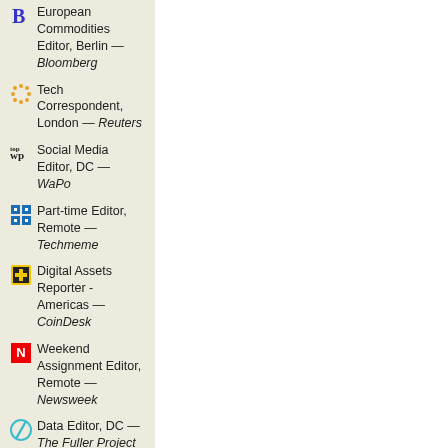European Commodities Editor, Berlin — Bloomberg
Tech Correspondent, London — Reuters
Social Media Editor, DC — WaPo
Part-time Editor, Remote — Techmeme
Digital Assets Reporter - Americas — CoinDesk
Weekend Assignment Editor, Remote — Newsweek
Data Editor, DC — The Fuller Project